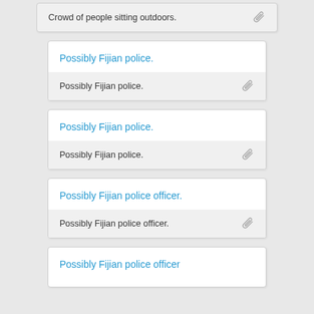Crowd of people sitting outdoors.
Possibly Fijian police.
Possibly Fijian police.
Possibly Fijian police.
Possibly Fijian police.
Possibly Fijian police officer.
Possibly Fijian police officer.
Possibly Fijian police officer